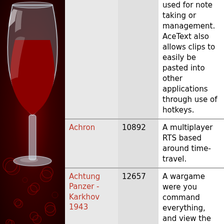[Figure (illustration): Wine logo with a white wine glass containing red wine, on a dark red background with bubble decorations]
| Name | AppID | Description |
| --- | --- | --- |
|  |  | used for note taking or management. AceText also allows clips to easily be pasted into other applications through use of hotkeys. |
| Achron | 10892 | A multiplayer RTS based around time-travel. |
| Achtung Panzer - Karkhov 1943 | 12657 | A wargame were you command everything, and view the battlefield in 3D |